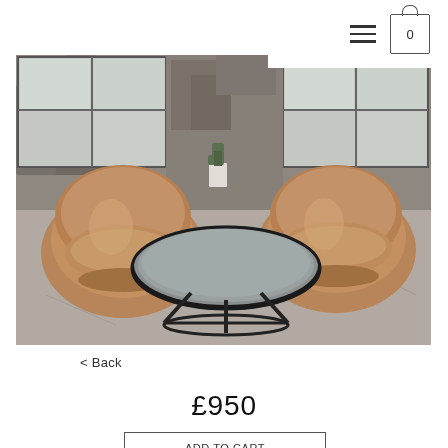navigation menu and cart icon (0)
[Figure (photo): Two round tan leather lounge chairs flanking a round grey top coffee table with black metal legs, in an industrial concrete interior with large factory windows.]
< Back
£950